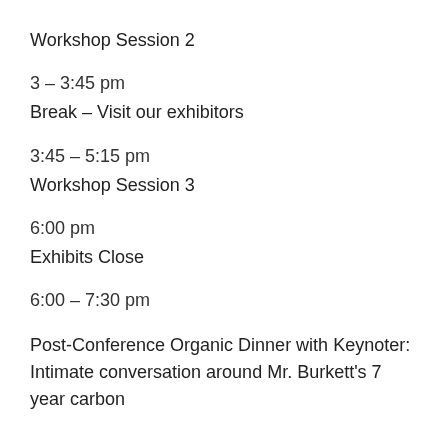Workshop Session 2
3 – 3:45 pm
Break – Visit our exhibitors
3:45 – 5:15 pm
Workshop Session 3
6:00 pm
Exhibits Close
6:00 – 7:30 pm
Post-Conference Organic Dinner with Keynoter: Intimate conversation around Mr. Burkett's 7 year carbon